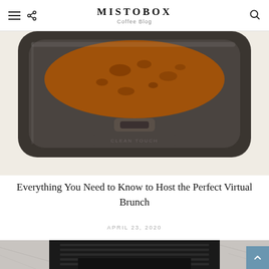MISTOBOX Coffee Blog
[Figure (photo): Top-down close-up view of a drip coffee maker lid/top, showing dark glass carafe top with orange/brown coffee visible inside, dark metallic trim, on white background. Text 'CLEAN TOUCH' embossed on carafe.]
Everything You Need to Know to Host the Perfect Virtual Brunch
APRIL 23, 2020
[Figure (photo): Partial view of a black coffee grinder or espresso machine with vents/grille visible, on marble surface background.]